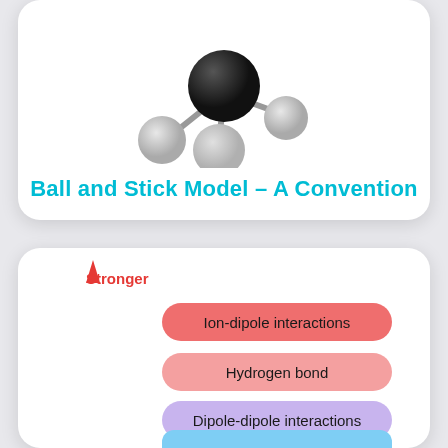[Figure (illustration): Ball and stick molecular model showing a central black sphere connected by sticks to three gray spheres in a trigonal arrangement]
Ball and Stick Model – A Convention
[Figure (infographic): Vertical scale of intermolecular force strength from weaker (bottom) to Stronger (top), with colored pills listing: Ion-dipole interactions (red), Hydrogen bond (light red/pink), Dipole-dipole interactions (purple), and a partially visible blue pill at the bottom]
Stronger